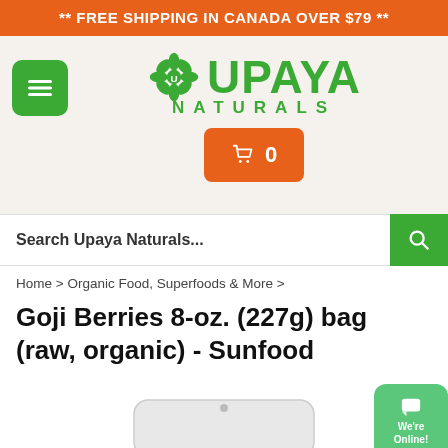** FREE SHIPPING IN CANADA OVER $79 **
[Figure (logo): Upaya Naturals logo with green flower icon, menu icon, and shopping cart button showing 0 items]
Search Upaya Naturals...
Home > Organic Food, Superfoods & More >
Goji Berries 8-oz. (227g) bag (raw, organic) - Sunfood
[Figure (photo): Partial view of a white product bag at the bottom of the page]